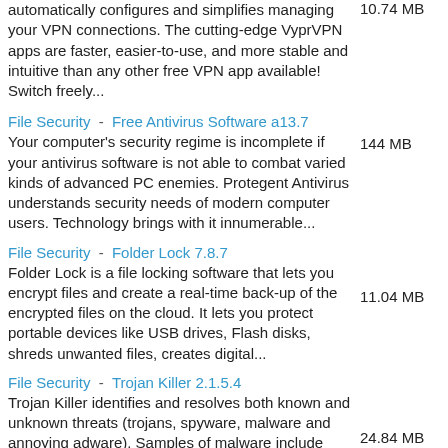automatically configures and simplifies managing your VPN connections. The cutting-edge VyprVPN apps are faster, easier-to-use, and more stable and intuitive than any other free VPN app available! Switch freely...
10.74 MB
File Security  -  Free Antivirus Software a13.7
Your computer's security regime is incomplete if your antivirus software is not able to combat varied kinds of advanced PC enemies. Protegent Antivirus understands security needs of modern computer users. Technology brings with it innumerable...
144 MB
File Security  -  Folder Lock 7.8.7
Folder Lock is a file locking software that lets you encrypt files and create a real-time back-up of the encrypted files on the cloud. It lets you protect portable devices like USB drives, Flash disks, shreds unwanted files, creates digital...
11.04 MB
File Security  -  Trojan Killer 2.1.5.4
Trojan Killer identifies and resolves both known and unknown threats (trojans, spyware, malware and annoying adware). Samples of malware include various types of adware (displays unwanted advertising); spyware (may keep and send logs of your...
24.84 MB
File Security  -  Folder Dog 1.2
Folder Dog is a security tool using to protect your private files, folders or disks. When you